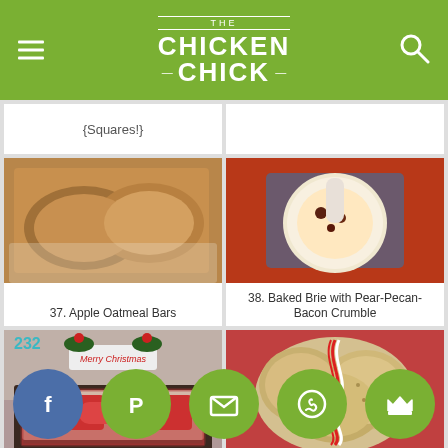The Chicken Chick
{Squares!}
[Figure (photo): Apple oatmeal bars on a white plate]
37. Apple Oatmeal Bars
[Figure (photo): Baked brie with pear-pecan-bacon crumble in a bowl on a decorative napkin]
38. Baked Brie with Pear-Pecan-Bacon Crumble
[Figure (photo): Christmas bedroom with Merry Christmas sign and red plaid bedding]
39. Christmas Bedroom...
[Figure (photo): Cinnamon oatmeal cookies tied with red and white twine]
40. Cinnamon Oatmeal C...